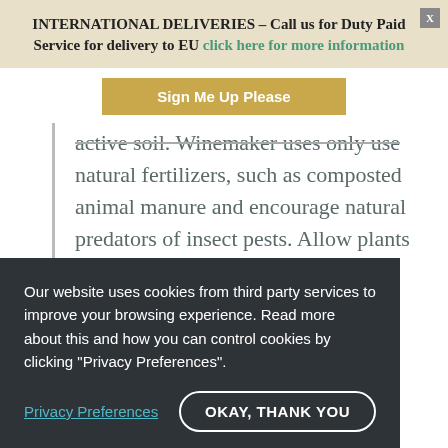INTERNATIONAL DELIVERIES - Call us for Duty Paid Service for delivery to EU click here for more information
Sign Me Up Please
active soil. Winemaker uses only use natural fertilizers, such as composted animal manure and encourage natural predators of insect pests. Allow plants to grow in the vineyard in order to promote biodiversity. The vineyards soil is not treated with weed killer.
Our website uses cookies from third party services to improve your browsing experience. Read more about this and how you can control cookies by clicking "Privacy Preferences".
Privacy Preferences
OKAY, THANK YOU